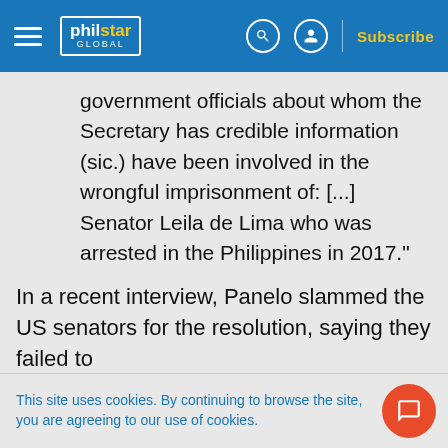philstar GLOBAL — Subscribe
government officials about whom the Secretary has credible information (sic.) have been involved in the wrongful imprisonment of: [...] Senator Leila de Lima who was arrested in the Philippines in 2017."
In a recent interview, Panelo slammed the US senators for the resolution, saying they failed to
This site uses cookies. By continuing to browse the site, you are agreeing to our use of cookies.